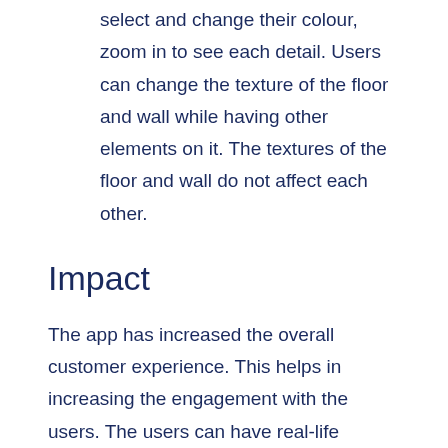select and change their colour, zoom in to see each detail. Users can change the texture of the floor and wall while having other elements on it. The textures of the floor and wall do not affect each other.
Impact
The app has increased the overall customer experience. This helps in increasing the engagement with the users. The users can have real-life experience and boost up customer satisfaction. The app enables unique